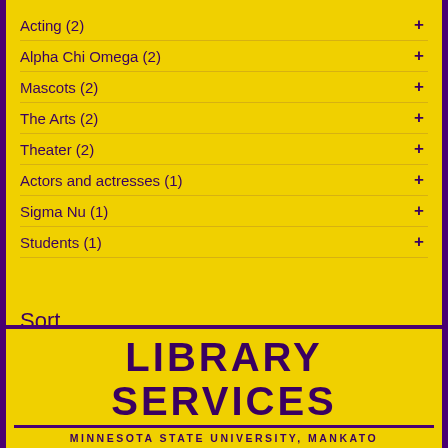Acting (2)
Alpha Chi Omega (2)
Mascots (2)
The Arts (2)
Theater (2)
Actors and actresses (1)
Sigma Nu (1)
Students (1)
Sort
Relevancy
LIBRARY SERVICES
MINNESOTA STATE UNIVERSITY, MANKATO